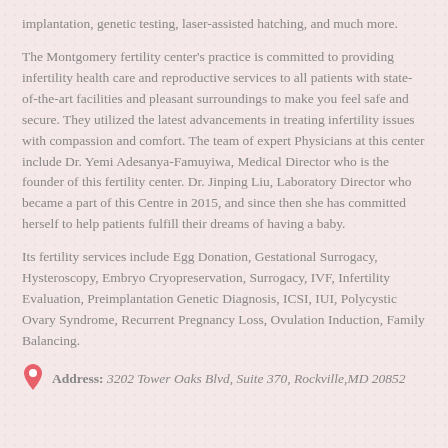implantation, genetic testing, laser-assisted hatching, and much more.
The Montgomery fertility center's practice is committed to providing infertility health care and reproductive services to all patients with state-of-the-art facilities and pleasant surroundings to make you feel safe and secure. They utilized the latest advancements in treating infertility issues with compassion and comfort. The team of expert Physicians at this center include Dr. Yemi Adesanya-Famuyiwa, Medical Director who is the founder of this fertility center. Dr. Jinping Liu, Laboratory Director who became a part of this Centre in 2015, and since then she has committed herself to help patients fulfill their dreams of having a baby.
Its fertility services include Egg Donation, Gestational Surrogacy, Hysteroscopy, Embryo Cryopreservation, Surrogacy, IVF, Infertility Evaluation, Preimplantation Genetic Diagnosis, ICSI, IUI, Polycystic Ovary Syndrome, Recurrent Pregnancy Loss, Ovulation Induction, Family Balancing.
Address: 3202 Tower Oaks Blvd, Suite 370, Rockville,MD 20852